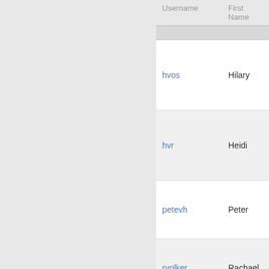| Username | First Name | Last Name ▼ |
| --- | --- | --- |
| hvos | Hilary | Vos |
| hvr | Heidi | von Ravens… |
| petevh | Peter | von Hip… |
| rvolker | Rachael | Volker |